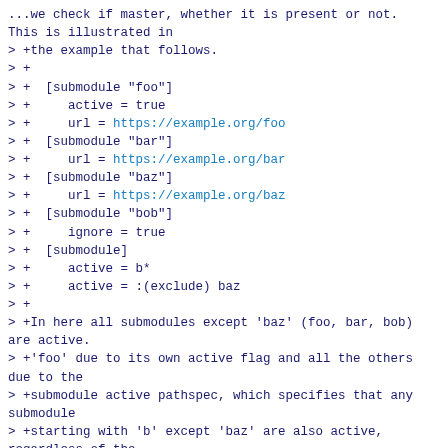...we check if master, whether it is present or not.
This is illustrated in
> +the example that follows.
> +
> +  [submodule "foo"]
> +     active = true
> +     url = https://example.org/foo
> +  [submodule "bar"]
> +     url = https://example.org/bar
> +  [submodule "baz"]
> +     url = https://example.org/baz
> +  [submodule "bob"]
> +     ignore = true
> +  [submodule]
> +     active = b*
> +     active = :(exclude) baz
> +
> +In here all submodules except 'baz' (foo, bar, bob) are active.
> +'foo' due to its own active flag and all the others due to the
> +submodule active pathspec, which specifies that any submodule
> +starting with 'b' except 'baz' are also active, regardless of the
> +presence of the .url field.
> +
>   Workflow for a third party library
>   -----------------------------------
>
> N...